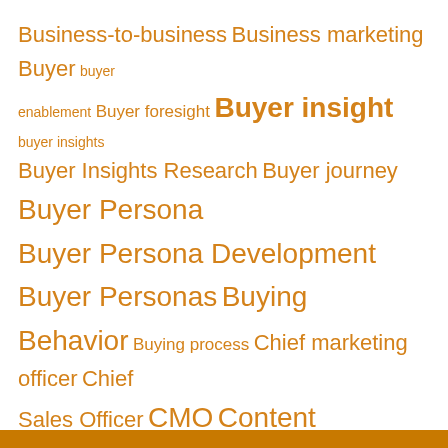[Figure (infographic): A tag cloud / word cloud of marketing-related terms in various font sizes, all rendered in orange text on a white background. Terms include: Business-to-business, Business marketing, Buyer, buyer enablement, Buyer foresight, Buyer insight, buyer insights, Buyer Insights Research, Buyer journey, Buyer Persona, Buyer Persona Development, Buyer Personas, Buying Behavior, Buying process, Chief marketing officer, Chief Sales Officer, CMO, Content marketing, content strategy, Customer, Customer experience, Customer Foresight, Customer Insight, Digital Economy, Digital marketing, human-centered marketing, Ideal Buyer Persona, Insight, Market, Marketing, Marketing and Advertising, Market Research, Persona, Persona-Based Marketing, Persona Buying Cycle, Qualitative research, Sales, Tony Zambito, Understanding]